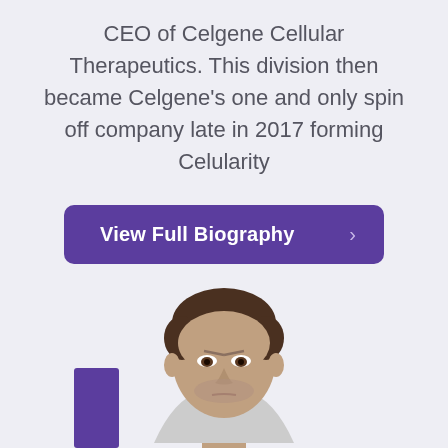CEO of Celgene Cellular Therapeutics. This division then became Celgene's one and only spin off company late in 2017 forming Celularity
View Full Biography >
[Figure (photo): Photo of a man (headshot, cropped at shoulders) with dark hair, looking forward with a slight frown. Positioned in lower center of page. A purple rectangular accent element is visible at the bottom left.]